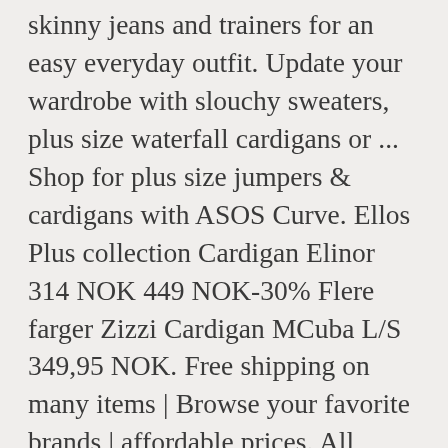skinny jeans and trainers for an easy everyday outfit. Update your wardrobe with slouchy sweaters, plus size waterfall cardigans or ... Shop for plus size jumpers & cardigans with ASOS Curve. Ellos Plus collection Cardigan Elinor 314 NOK 449 NOK-30% Flere farger Zizzi Cardigan MCuba L/S 349,95 NOK. Free shipping on many items | Browse your favorite brands | affordable prices. All rights reserved. Plus Size Cardigans. COZY. Offered in the latest styles and materials from plus size shrugs, cardigans, v-neck sweaters and boleros Dillard's â¦ Lowest price in 30 days. Our plus size cardigan line up features your favourite chunky knit cardigans to longline waterfall cardigans. If it's short-sleeved sweaters you